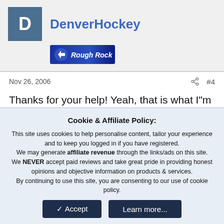DenverHockey
[Figure (logo): Rough Rock badge/logo — blue gradient banner with arrow icon and text 'Rough Rock' in italic white]
Nov 26, 2006    #4
Thanks for your help! Yeah, that is what I"m trying to figure out. The table and depth size are quite larger than anything else I"ve seen, and I"m trying to determine how that impacts the price of the stone. Proportionally, it seems on par (ratio-wise) to stones that have smaller tables and depths. I"m trying
Cookie & Affiliate Policy:
This site uses cookies to help personalise content, tailor your experience and to keep you logged in if you have registered.
We may generate affiliate revenue through the links/ads on this site.
We NEVER accept paid reviews and take great pride in providing honest opinions and objective information on products & services.
By continuing to use this site, you are consenting to our use of cookie policy.